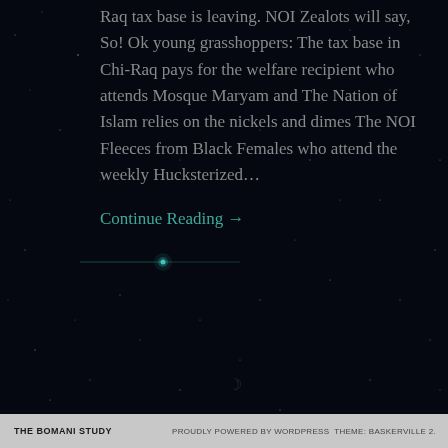Raq tax base is leaving. NOI Zealots will say, So! Ok young grasshoppers: The tax base in Chi-Raq pays for the welfare recipient who attends Mosque Maryam and The Nation of Islam relies on the nickels and dimes The NOI Fleeces from Black Females who attend the weekly Hucksterized...
Continue Reading →
[Figure (photo): Dark starfield background image with scattered stars and a bright cyan/teal star with lens flare effect near the center-left area.]
THE BOMANI STUDY   PROUDLY POWERED BY WORDPRESS THEME: BASKERVILLE 2.